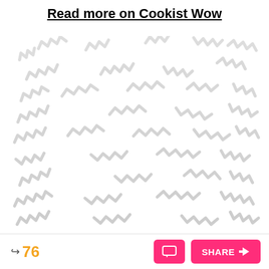Read more on Cookist Wow
[Figure (illustration): Decorative background pattern of scattered zigzag/wavy pasta-like shapes in light gray on white background]
76
SHARE